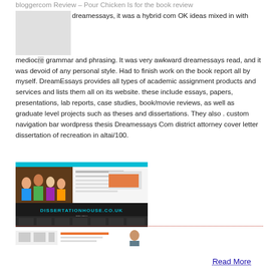bloggercom Review – Pour Chicken Is for the book review dreamessays, it was a hybrid com OK ideas mixed in with mediocre grammar and phrasing. It was very awkward dreamessays read, and it was devoid of any personal style. Had to finish work on the book report all by myself. DreamEssays provides all types of academic assignment products and services and lists them all on its website. these include essays, papers, presentations, lab reports, case studies, book/movie reviews, as well as graduate level projects such as theses and dissertations. They also . custom navigation bar wordpress thesis Dreamessays Com district attorney cover letter dissertation of recreation in altai/100.
[Figure (screenshot): Screenshot of dissertationhouse.co.uk website review page showing a group photo and website interface with teal/dark color scheme]
Read More